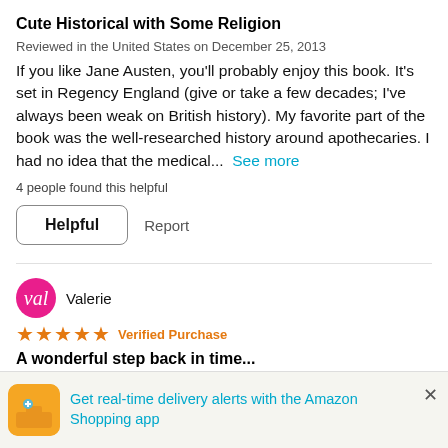Cute Historical with Some Religion
Reviewed in the United States on December 25, 2013
If you like Jane Austen, you'll probably enjoy this book. It's set in Regency England (give or take a few decades; I've always been weak on British history). My favorite part of the book was the well-researched history around apothecaries. I had no idea that the medical...  See more
4 people found this helpful
Helpful   Report
Valerie
★★★★★ Verified Purchase
A wonderful step back in time...
Reviewed in the United States on April 24, 2011
The Apothecary's Daughter is a lovely look into the past. The story, the setting, the characters, they are all excellent! The
Get real-time delivery alerts with the Amazon Shopping app